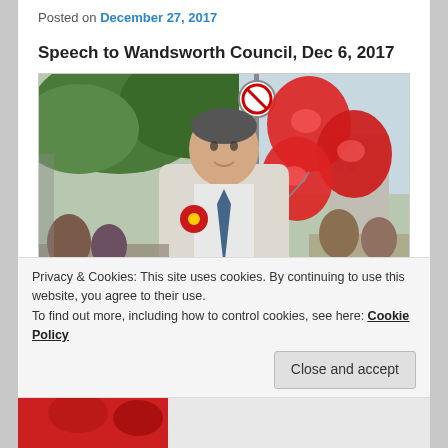Posted on December 27, 2017
Speech to Wandsworth Council, Dec 6, 2017
[Figure (photo): Man in white shirt with red Labour party rosette holding red balloons at an outdoor public event, trees and buildings visible in background]
Privacy & Cookies: This site uses cookies. By continuing to use this website, you agree to their use.
To find out more, including how to control cookies, see here: Cookie Policy
Close and accept